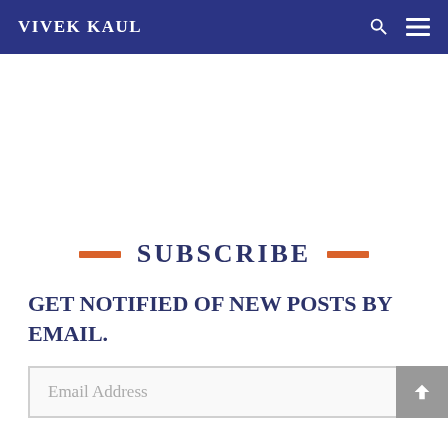VIVEK KAUL
SUBSCRIBE
GET NOTIFIED OF NEW POSTS BY EMAIL.
Email Address